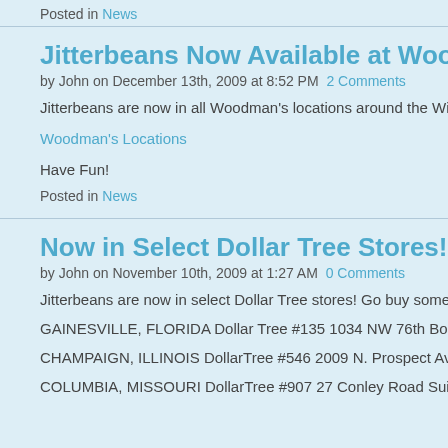Posted in News
Jitterbeans Now Available at Woodman's Gr
by John on December 13th, 2009 at 8:52 PM  2 Comments
Jitterbeans are now in all Woodman's locations around the Wisconsin a
Woodman's Locations
Have Fun!
Posted in News
Now in Select Dollar Tree Stores!
by John on November 10th, 2009 at 1:27 AM  0 Comments
Jitterbeans are now in select Dollar Tree stores! Go buy some today!
GAINESVILLE, FLORIDA Dollar Tree #135 1034 NW 76th Boulevard G
CHAMPAIGN, ILLINOIS DollarTree #546 2009 N. Prospect Ave. Champ
COLUMBIA, MISSOURI DollarTree #907 27 Conley Road Suite H Colu